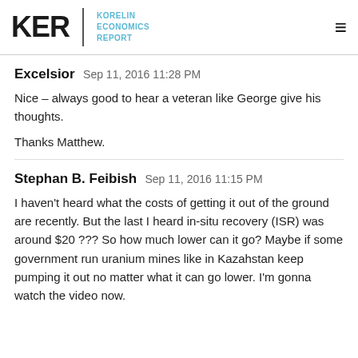KER | KORELIN ECONOMICS REPORT
Excelsior  Sep 11, 2016 11:28 PM

Nice – always good to hear a veteran like George give his thoughts.

Thanks Matthew.
Stephan B. Feibish  Sep 11, 2016 11:15 PM

I haven't heard what the costs of getting it out of the ground are recently. But the last I heard in-situ recovery (ISR) was around $20 ??? So how much lower can it go? Maybe if some government run uranium mines like in Kazahstan keep pumping it out no matter what it can go lower. I'm gonna watch the video now.